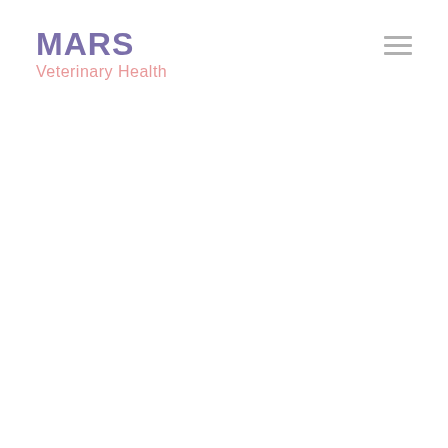[Figure (logo): Mars Veterinary Health logo with 'MARS' in bold purple/violet text and 'Veterinary Health' in pink/salmon text below]
[Figure (other): Hamburger menu icon consisting of three horizontal gray lines in the top-right corner]